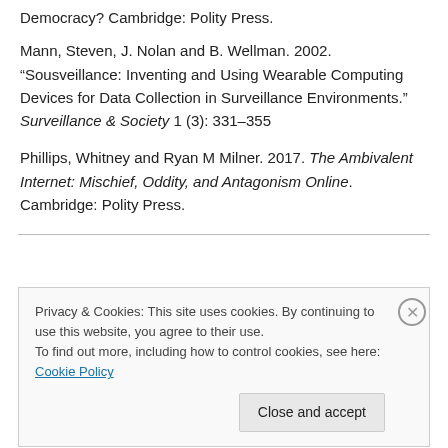Democracy? Cambridge: Polity Press.
Mann, Steven, J. Nolan and B. Wellman. 2002. “Sousveillance: Inventing and Using Wearable Computing Devices for Data Collection in Surveillance Environments.” Surveillance & Society 1 (3): 331–355
Phillips, Whitney and Ryan M Milner. 2017. The Ambivalent Internet: Mischief, Oddity, and Antagonism Online. Cambridge: Polity Press.
Privacy & Cookies: This site uses cookies. By continuing to use this website, you agree to their use. To find out more, including how to control cookies, see here: Cookie Policy
Close and accept